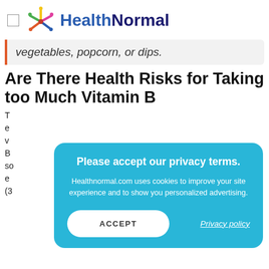HealthNormal
vegetables, popcorn, or dips.
Are There Health Risks for Taking too Much Vitamin B
T... e... v... B... so... e... (3...
[Figure (screenshot): Privacy consent popup overlay with sky-blue background. Title: 'Please accept our privacy terms.' Body: 'Healthnormal.com uses cookies to improve your site experience and to show you personalized advertising.' Buttons: ACCEPT (white rounded button) and Privacy policy (underlined link).]